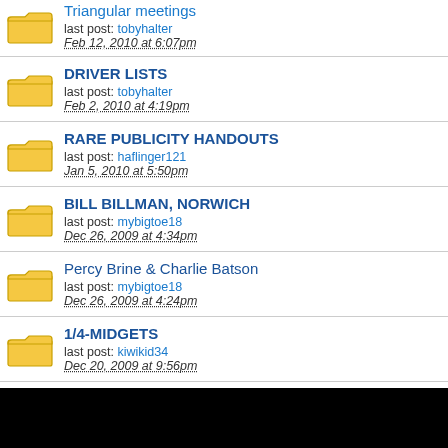Triangular meetings
last post: tobyhalter
Feb 12, 2010 at 6:07pm
DRIVER LISTS
last post: tobyhalter
Feb 2, 2010 at 4:19pm
RARE PUBLICITY HANDOUTS
last post: haflinger121
Jan 5, 2010 at 5:50pm
BILL BILLMAN, NORWICH
last post: mybigtoe18
Dec 26, 2009 at 4:34pm
Percy Brine & Charlie Batson
last post: mybigtoe18
Dec 26, 2009 at 4:24pm
1/4-MIDGETS
last post: kiwikid34
Dec 20, 2009 at 9:56pm
IAN SKINNER"s MESSAGE